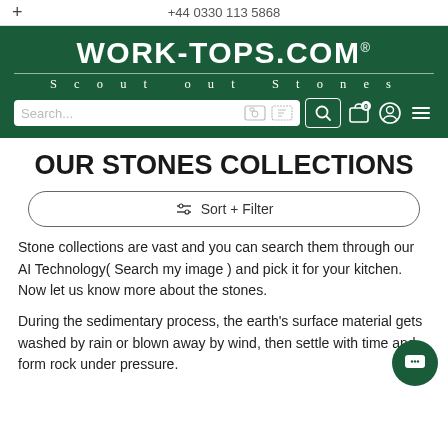+ | +44 0330 113 5868
[Figure (logo): WORK-TOPS.COM logo with tagline 'Scout out Stones' on dark green background with search bar and navigation icons]
OUR STONES COLLECTIONS
⇅ Sort + Filter
Stone collections are vast and you can search them through our AI Technology( Search my image ) and pick it for your kitchen. Now let us know more about the stones.
During the sedimentary process, the earth's surface material gets washed by rain or blown away by wind, then settle with time and form rock under pressure.